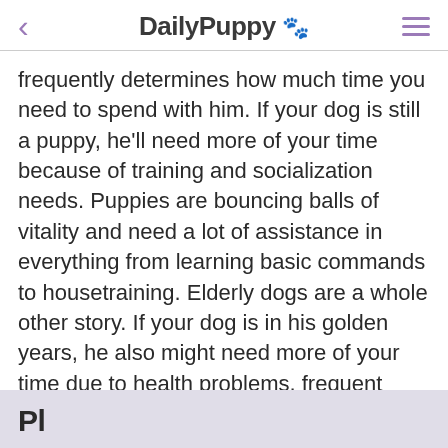DailyPuppy 🐾
frequently determines how much time you need to spend with him. If your dog is still a puppy, he'll need more of your time because of training and socialization needs. Puppies are bouncing balls of vitality and need a lot of assistance in everything from learning basic commands to housetraining. Elderly dogs are a whole other story. If your dog is in his golden years, he also might need more of your time due to health problems, frequent veterinary checkups and cognitive difficulties.
Pl...